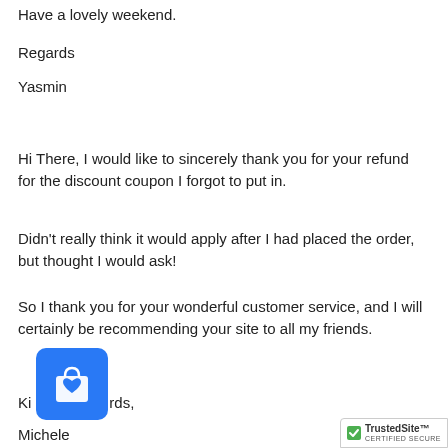Have a lovely weekend.
Regards
Yasmin
Hi There, I would like to sincerely thank you for your refund for the discount coupon I forgot to put in.
Didn't really think it would apply after I had placed the order, but thought I would ask!
So I thank you for your wonderful customer service, and I will certainly be recommending your site to all my friends.
Kind regards,
Michele
[Figure (logo): Blue rounded square icon with a shopping bag and heart symbol]
[Figure (logo): TrustedSite Certified Secure badge]